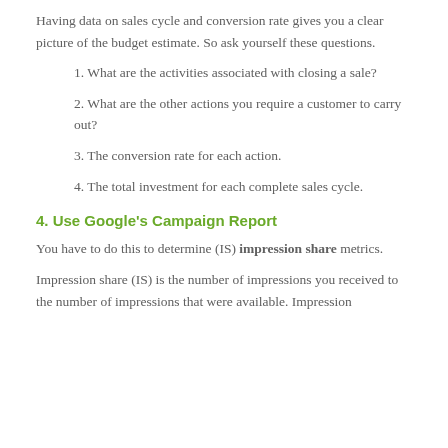Having data on sales cycle and conversion rate gives you a clear picture of the budget estimate. So ask yourself these questions.
1. What are the activities associated with closing a sale?
2. What are the other actions you require a customer to carry out?
3. The conversion rate for each action.
4. The total investment for each complete sales cycle.
4. Use Google's Campaign Report
You have to do this to determine (IS) impression share metrics.
Impression share (IS) is the number of impressions you received to the number of impressions that were available. Impression